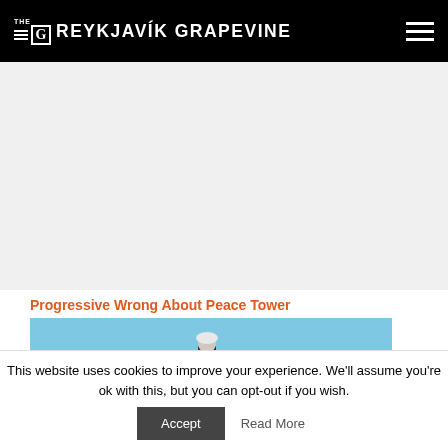THE G REYKJAVÍK GRAPEVINE
[Figure (other): Advertisement / empty ad placeholder area]
Progressive Wrong About Peace Tower
[Figure (photo): Photo of a man wearing a white hard hat and dark coat, standing outdoors with a blue sky and city buildings in the background]
This website uses cookies to improve your experience. We'll assume you're ok with this, but you can opt-out if you wish.
Accept   Read More